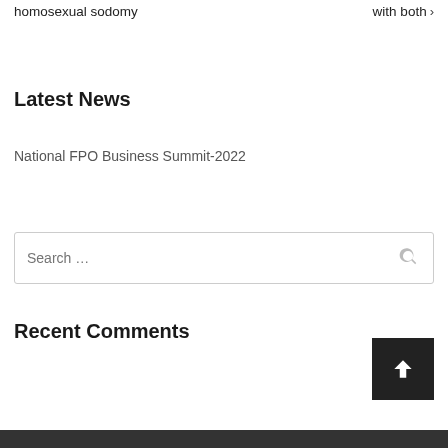homosexual sodomy
with both ›
Latest News
National FPO Business Summit-2022
Search …
Recent Comments
[Figure (other): Scroll to top button with upward arrow]